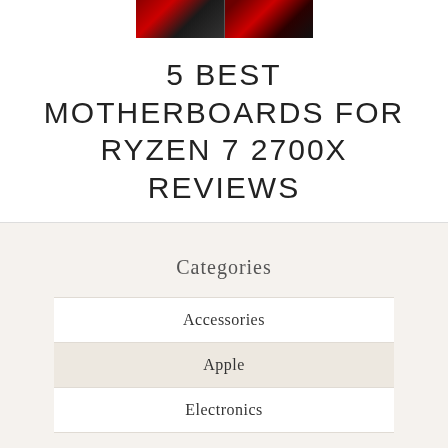[Figure (photo): Two side-by-side photos of motherboards/PC hardware with red and dark tones]
5 BEST MOTHERBOARDS FOR RYZEN 7 2700X REVIEWS
Categories
Accessories
Apple
Electronics